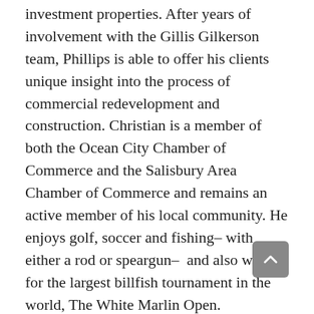investment properties. After years of involvement with the Gillis Gilkerson team, Phillips is able to offer his clients unique insight into the process of commercial redevelopment and construction. Christian is a member of both the Ocean City Chamber of Commerce and the Salisbury Area Chamber of Commerce and remains an active member of his local community. He enjoys golf, soccer and fishing– with either a rod or speargun–  and also works for the largest billfish tournament in the world, The White Marlin Open.
Christian is a graduate of Salisbury University and lives in Ocean City, Maryland with his Mastiff, Elvis who is also the Chief Relations Officer of NAI